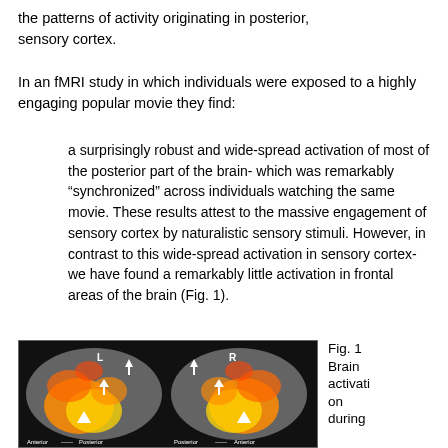the patterns of activity originating in posterior, sensory cortex.
In an fMRI study in which individuals were exposed to a highly engaging popular movie they find:
a surprisingly robust and wide-spread activation of most of the posterior part of the brain- which was remarkably “synchronized” across individuals watching the same movie. These results attest to the massive engagement of sensory cortex by naturalistic sensory stimuli. However, in contrast to this wide-spread activation in sensory cortex- we have found a remarkably little activation in frontal areas of the brain (Fig. 1).
[Figure (photo): Brain activation flatmap showing left (L) and right (R) hemispheres with orange/yellow activation patterns, arrows pointing to areas of interest. Labels: Anterior, Posterior marked at bottom.]
Fig. 1 Brain activation during